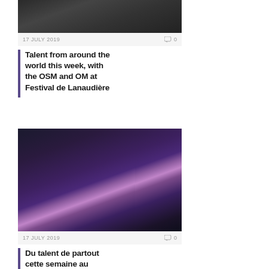[Figure (photo): Dark blurred concert/audience photo]
17 JULY 2019   0
Talent from around the world this week, with the OSM and OM at Festival de Lanaudière
[Figure (photo): Concert hall with purple lighting, orchestra on stage, audience in foreground]
17 JULY 2019   0
Du talent de partout cette semaine au Festival de Lanaudière avec l'OSM et l'OM